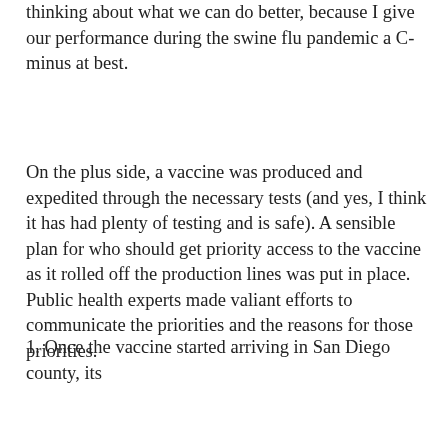thinking about what we can do better, because I give our performance during the swine flu pandemic a C-minus at best.
On the plus side, a vaccine was produced and expedited through the necessary tests (and yes, I think it has had plenty of testing and is safe). A sensible plan for who should get priority access to the vaccine as it rolled off the production lines was put in place. Public health experts made valiant efforts to communicate the priorities and the reasons for those priorities.
On the negative side, the distribution of the vaccine has been unnecessarily confusing. I can only speak to what happened here in San Diego, but I don't necessarily mean this as a criticism of our San Diego authorities. My understanding from my inside sources is that some of the screwiest decisions were taken at a higher level of government. I have two main observations of things that could have been done better:
1. Once the vaccine started arriving in San Diego county, its